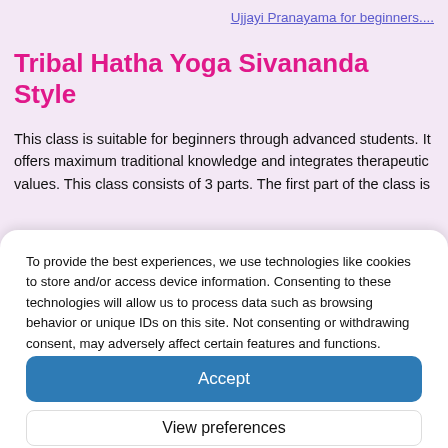Ujjayi Pranayama for beginners....
Tribal Hatha Yoga Sivananda Style
This class is suitable for beginners through advanced students. It offers maximum traditional knowledge and integrates therapeutic values. This class consists of 3 parts. The first part of the class is
To provide the best experiences, we use technologies like cookies to store and/or access device information. Consenting to these technologies will allow us to process data such as browsing behavior or unique IDs on this site. Not consenting or withdrawing consent, may adversely affect certain features and functions.
Accept
View preferences